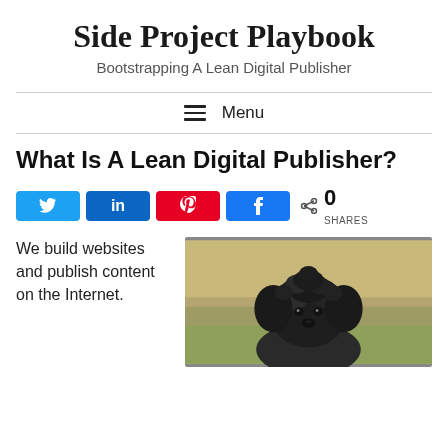Side Project Playbook
Bootstrapping A Lean Digital Publisher
Menu
What Is A Lean Digital Publisher?
[Figure (infographic): Social share buttons: Twitter, LinkedIn, Pinterest, Facebook, and a share count showing 0 SHARES]
We build websites and publish content on the Internet.
[Figure (photo): Photo of a black fluffy dog (appears to be a doodle or poodle mix) looking up, with a blurred green/brown outdoor background]